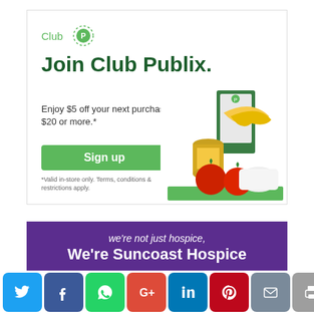[Figure (infographic): Club Publix advertisement. White card with dashed green circle logo, headline 'Join Club Publix.', offer text 'Enjoy $5 off your next purchase of $20 or more.*', green Sign up button, fine print disclaimer, and grocery product photo (bananas, tomatoes, canned goods, box) on right side.]
[Figure (infographic): Purple banner ad: 'we're not just hospice, We're Suncoast Hospice']
[Figure (infographic): Social media sharing bar with icons: Twitter (blue), Facebook (dark blue), WhatsApp (green), Google+ (red), LinkedIn (blue), Pinterest (red), Email (gray), Print (gray), and scroll-to-top dark circle button.]